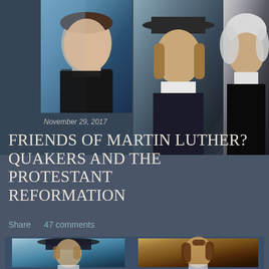[Figure (photo): Collage of three historical portrait paintings at the top: Martin Luther on left (dark clothing, blue background), a central figure in dark clothing with white collar and wide-brimmed hat, and an older figure on right with white wig/hair against dark background]
November 29, 2017
FRIENDS OF MARTIN LUTHER? QUAKERS AND THE PROTESTANT REFORMATION
Share   47 comments
[Figure (photo): Two historical portrait paintings side by side on a dark blue background: left portrait shows a Quaker figure in dark hat with white collar (George Fox style), right portrait shows a man with long dark curly hair (William Penn style)]